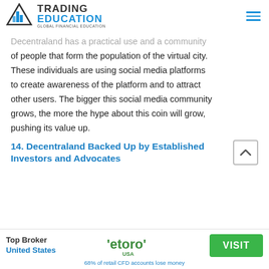TRADING EDUCATION — GLOBAL FINANCIAL EDUCATION
Decentraland has a practical use and a community of people that form the population of the virtual city. These individuals are using social media platforms to create awareness of the platform and to attract other users. The bigger this social media community grows, the more the hype about this coin will grow, pushing its value up.
14. Decentraland Backed Up by Established Investors and Advocates
[Figure (infographic): Top Broker United States — eToro USA — VISIT button — 68% of retail CFD accounts lose money]